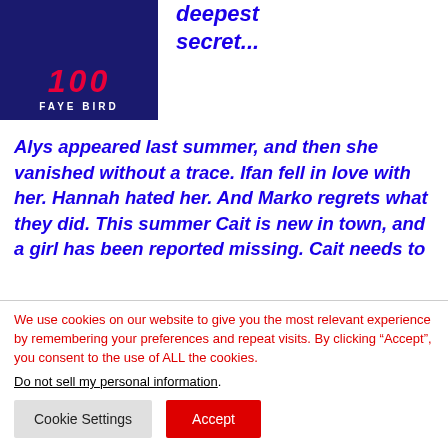[Figure (illustration): Book cover with dark blue background, red stylized text at top (partially visible), and 'FAYE BIRD' author name in white letters below]
deepest secret...
Alys appeared last summer, and then she vanished without a trace. Ifan fell in love with her. Hannah hated her. And Marko regrets what they did. This summer Cait is new in town, and a girl has been reported missing. Cait needs to
We use cookies on our website to give you the most relevant experience by remembering your preferences and repeat visits. By clicking “Accept”, you consent to the use of ALL the cookies.
Do not sell my personal information.
Cookie Settings
Accept